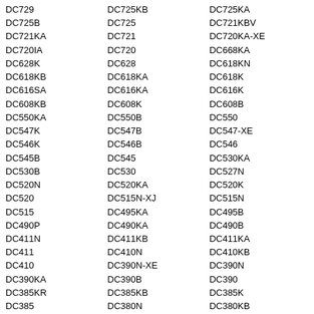DC729 | DC725KB | DC725KA
DC725B | DC725 | DC721KBV
DC721KA | DC721 | DC720KA-XE
DC720IA | DC720 | DC668KA
DC628K | DC628 | DC618KN
DC618KB | DC618KA | DC618K
DC616SA | DC616KA | DC616K
DC608KB | DC608K | DC608B
DC550KA | DC550B | DC550
DC547K | DC547B | DC547-XE
DC546K | DC546B | DC546
DC545B | DC545 | DC530KA
DC530B | DC530 | DC527N
DC520N | DC520KA | DC520K
DC520 | DC515N-XJ | DC515N
DC515 | DC495KA | DC495B
DC490P | DC490KA | DC490B
DC411N | DC411KB | DC411KA
DC411 | DC410N | DC410KB
DC410 | DC390N-XE | DC390N
DC390KA | DC390B | DC390
DC385KR | DC385KB | DC385K
DC385 | DC380N | DC380KB
DC380 | DC352KN | DC352KBR